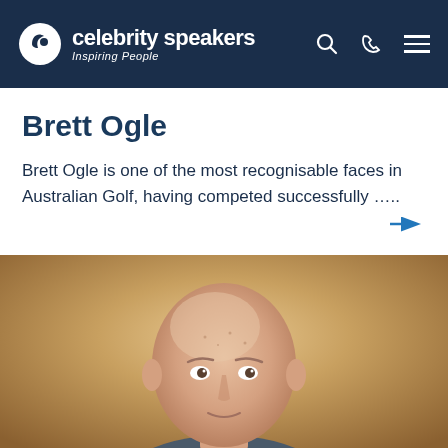celebrity speakers — Inspiring People
Brett Ogle
Brett Ogle is one of the most recognisable faces in Australian Golf, having competed successfully …..
[Figure (photo): Portrait photo of Brett Ogle, a bald older man photographed from the shoulders up against a warm blurred background]